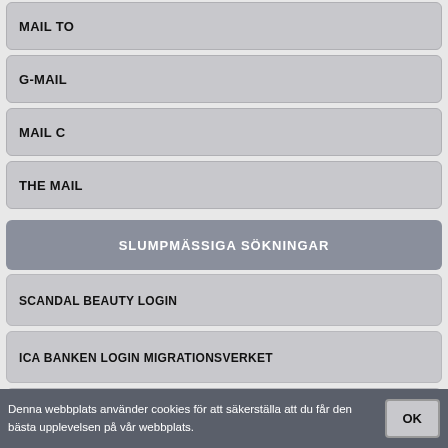MAIL TO
G-MAIL
MAIL C
THE MAIL
SLUMPMÄSSIGA SÖKNINGAR
SCANDAL BEAUTY LOGIN
ICA BANKEN LOGIN MIGRATIONSVERKET
HOTMAIL LOGIN SVERIGE
Denna webbplats använder cookies för att säkerställa att du får den bästa upplevelsen på vår webbplats.